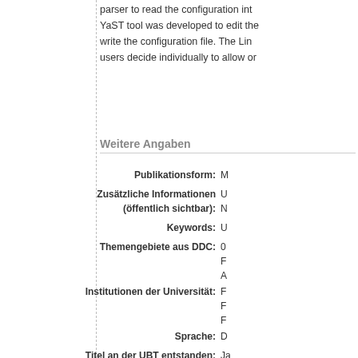parser to read the configuration into. A YaST tool was developed to edit the write the configuration file. The Linu users decide individually to allow or
Weitere Angaben
| Field | Value |
| --- | --- |
| Publikationsform: | M |
| Zusätzliche Informationen (öffentlich sichtbar): | U
N |
| Keywords: | U |
| Themengebiete aus DDC: | 0
F
A |
| Institutionen der Universität: | F
F
F |
| Sprache: | D |
| Titel an der UBT entstanden: | Ja |
| URN: | ur |
| Eingestellt am: | 0 |
| Letzte Änderung: | 0 |
| URI: | ht |